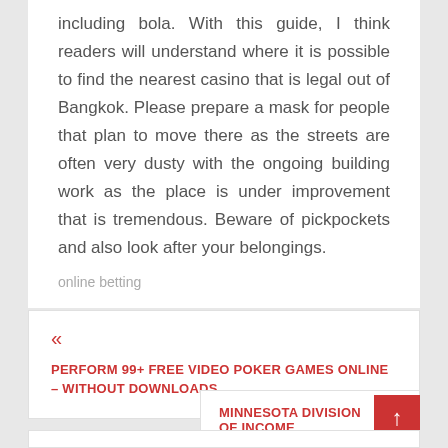including bola. With this guide, I think readers will understand where it is possible to find the nearest casino that is legal out of Bangkok. Please prepare a mask for people that plan to move there as the streets are often very dusty with the ongoing building work as the place is under improvement that is tremendous. Beware of pickpockets and also look after your belongings.
online betting
«
PERFORM 99+ FREE VIDEO POKER GAMES ONLINE – WITHOUT DOWNLOADS
MINNESOTA DIVISION OF INCOME »